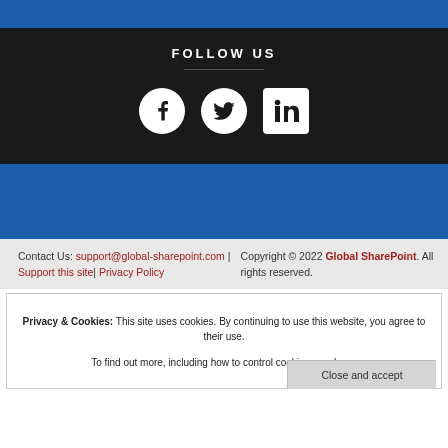FOLLOW US
[Figure (illustration): Social media icons: Facebook, Twitter, LinkedIn - white circles on dark background]
Contact Us: support@global-sharepoint.com | Support this site| Privacy Policy
Copyright © 2022 Global SharePoint. All rights reserved.
Privacy & Cookies: This site uses cookies. By continuing to use this website, you agree to their use. To find out more, including how to control cookies, see here:
Close and accept